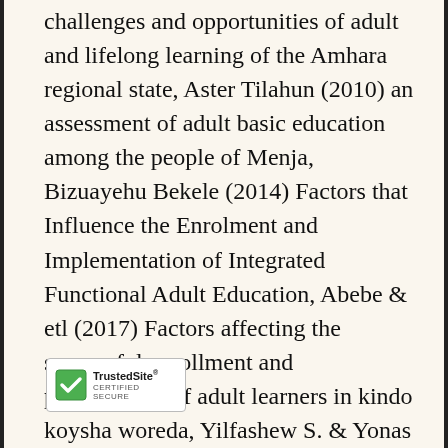challenges and opportunities of adult and lifelong learning of the Amhara regional state, Aster Tilahun (2010) an assessment of adult basic education among the people of Menja, Bizuayehu Bekele (2014) Factors that Influence the Enrolment and Implementation of Integrated Functional Adult Education, Abebe & etl (2017) Factors affecting the successful enrollment and participation of adult learners in kindo koysha woreda, Yilfashew S. & Yonas A (2016) Determinant of Adult Education Program: A Critical Analysis of Adult Education in Some Selected Training Centers of Eastern Regions, Kebede S.& Mohamedhusen H (2016).The Practices of Integrated Functional Adult Literacy Program in Ethiopia: The Case of Almost all of the research intended to the magnitude and determinants of
[Figure (logo): TrustedSite CERTIFIED SECURE badge with green checkmark icon]